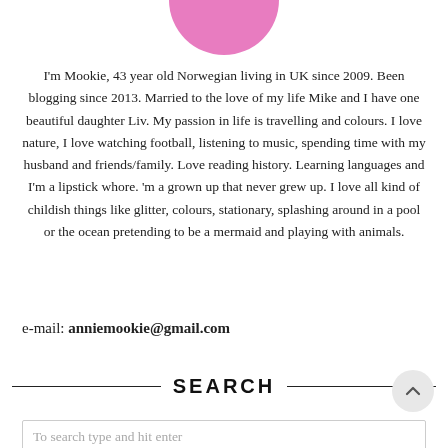[Figure (photo): Circular profile photo of a person wearing pink/magenta, partially cropped at top]
I'm Mookie, 43 year old Norwegian living in UK since 2009. Been blogging since 2013. Married to the love of my life Mike and I have one beautiful daughter Liv. My passion in life is travelling and colours. I love nature, I love watching football, listening to music, spending time with my husband and friends/family. Love reading history. Learning languages and I'm a lipstick whore. 'm a grown up that never grew up. I love all kind of childish things like glitter, colours, stationary, splashing around in a pool or the ocean pretending to be a mermaid and playing with animals.
e-mail: anniemookie@gmail.com
SEARCH
To search type and hit enter